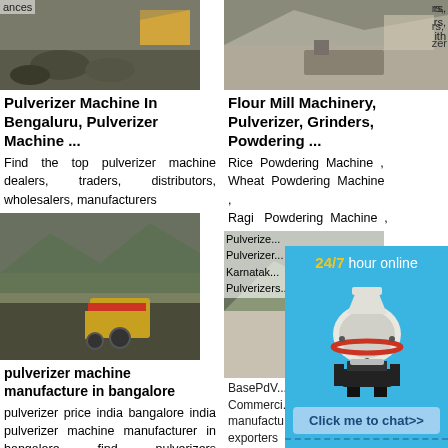[Figure (photo): Photo of pulverizer/mining site with excavator, top left]
Pulverizer Machine In Bengaluru, Pulverizer Machine ...
Find the top pulverizer machine dealers, traders, distributors, wholesalers, manufacturers
[Figure (photo): Photo of flour mill / quarry site, top right]
Flour Mill Machinery, Pulverizer, Grinders, Powdering ...
Rice Powdering Machine , Wheat Powdering Machine , Ragi Powdering Machine ,
[Figure (photo): Photo of pulverizer machine at mining site, middle left]
pulverizer machine manufacture in bangalore
pulverizer price india bangalore india pulverizer machine manufacturer in bangalore find pulverizers manufacturers,
[Figure (photo): Photo of mining/quarry site, middle right, partially obscured by chat widget]
Pulverize... Pulverizer... Karnatak... Pulverizers...
BasePdV... Commerci... manufactu... exporters
[Figure (infographic): 24/7 hour online chat widget with cone crusher machine image, Click me to chat>>, Enquiry, limingjlmofen]
[Figure (photo): Photo bottom left, partially visible]
[Figure (photo): Photo bottom right, partially visible]